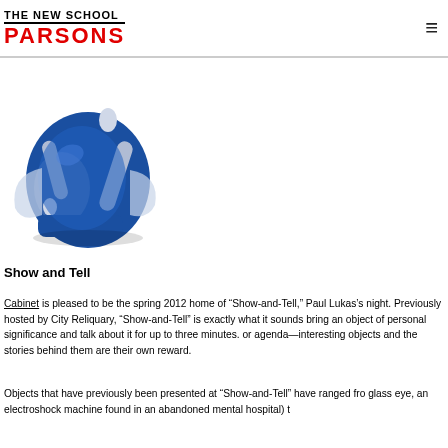THE NEW SCHOOL PARSONS
[Figure (photo): A blue binder clip / large paper clip object photographed against a white background, shown from a side angle.]
Show and Tell
Cabinet is pleased to be the spring 2012 home of “Show-and-Tell,” Paul Lukas’s night. Previously hosted by City Reliquary, “Show-and-Tell” is exactly what it sounds bring an object of personal significance and talk about it for up to three minutes. or agenda—interesting objects and the stories behind them are their own reward.
Objects that have previously been presented at “Show-and-Tell” have ranged from glass eye, an electroshock machine found in an abandoned mental hospital) t